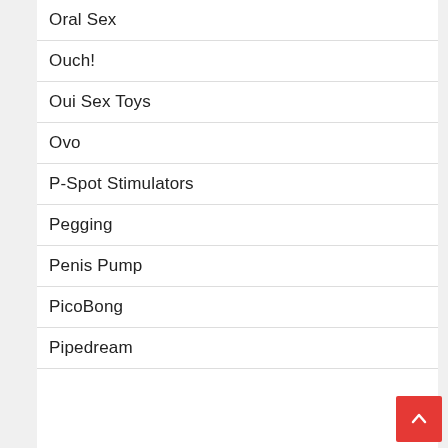Oral Sex
Ouch!
Oui Sex Toys
Ovo
P-Spot Stimulators
Pegging
Penis Pump
PicoBong
Pipedream